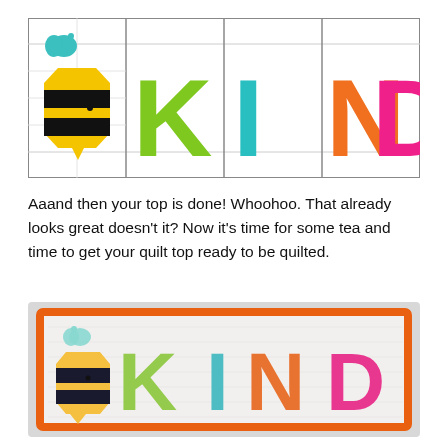[Figure (illustration): Quilt top layout showing a bee block on the left followed by colorful letter blocks spelling KIND - K in green, I in teal, N in orange, D in pink, all on white background with gray grid border]
Aaand then your top is done! Whoohoo. That already looks great doesn't it? Now it's time for some tea and time to get your quilt top ready to be quilted.
[Figure (photo): Photo of a finished quilted wall hanging with orange border on white background, showing a bee on the left and the letters KIND in green, teal, orange, and pink fabric applique]